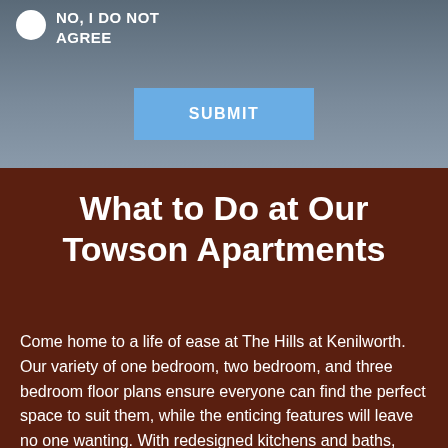NO, I DO NOT AGREE
SUBMIT
What to Do at Our Towson Apartments
Come home to a life of ease at The Hills at Kenilworth. Our variety of one bedroom, two bedroom, and three bedroom floor plans ensure everyone can find the perfect space to suit them, while the enticing features will leave no one wanting. With redesigned kitchens and baths, every area of the home will be exciting for all, and the stone accent walls provide a special touch to any living experience.